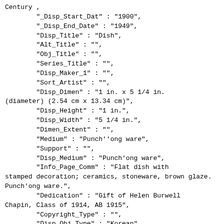Century ,
        "_Disp_Start_Dat" : "1900",
        "_Disp_End_Date" : "1949",
        "Disp_Title" : "Dish",
        "Alt_Title" : "",
        "Obj_Title" : "",
        "Series_Title" : "",
        "Disp_Maker_1" : "",
        "Sort_Artist" : "",
        "Disp_Dimen" : "1 in. x 5 1/4 in. (diameter) (2.54 cm x 13.34 cm)",
        "Disp_Height" : "1 in.",
        "Disp_Width" : "5 1/4 in.",
        "Dimen_Extent" : "",
        "Medium" : "Punch&#39;&#39;ong ware",
        "Support" : "",
        "Disp_Medium" : "Punch&#39;ong ware",
        "Info_Page_Comm" : "Flat dish with stamped decoration; ceramics, stoneware, brown glaze. Punch&#39;ong ware.",
        "Dedication" : "Gift of Helen Burwell Chapin, Class of 1914, AB 1915",
        "Copyright_Type" : "",
        "Disp_Obj_Type" : "Korean",
        "Creation_Place2" : "North Korea or South Korea",
        "Department" : "Fine Arts",
        "Obj_Name" : "dish",
        "Period" : "",
        "Style" : "",
        "Edition" : "",